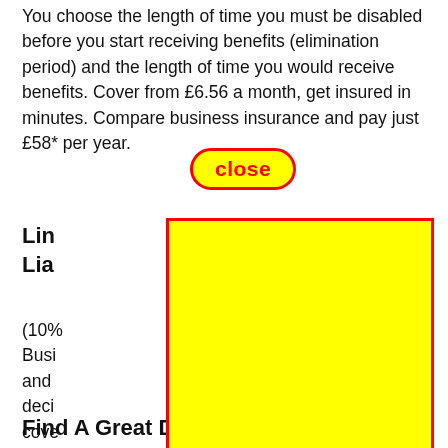You choose the length of time you must be disabled before you start receiving benefits (elimination period) and the length of time you would receive benefits. Cover from £6.56 a month, get insured in minutes. Compare business insurance and pay just £58* per year.
[Figure (other): A yellow button with red border containing the word 'close' in bold red text]
Lin
Lia
(10%                                                      al. Busi                                                       s, and                                       deci                                                ce cove
[Figure (other): A large yellow rectangle with a red border overlaying part of the page content — an advertisement overlay]
Find A Great Deal In Under Five